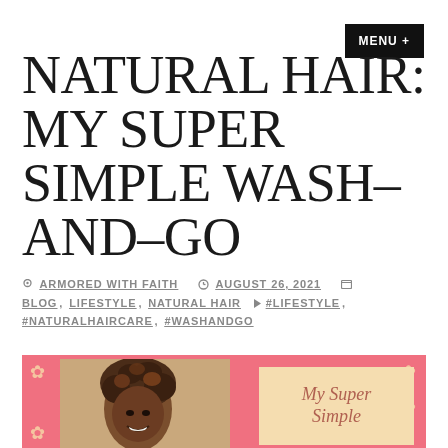MENU +
NATURAL HAIR: MY SUPER SIMPLE WASH-AND-GO
ARMORED WITH FAITH  AUGUST 26, 2021  BLOG, LIFESTYLE, NATURAL HAIR  #LIFESTYLE, #NATURALHAIRCARE, #WASHANDGO
[Figure (photo): Blog post featured image with pink background, flowers, a smiling woman with natural curly hair on the left, and a beige card overlay on the right with cursive text 'My Super Simple' visible]